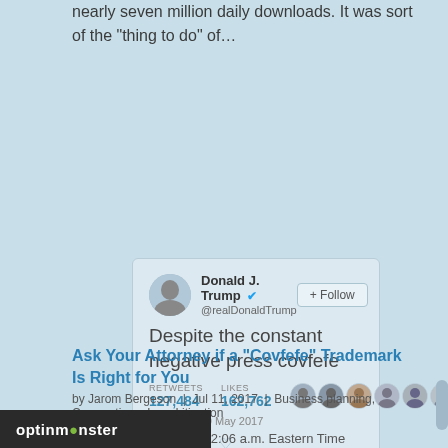nearly seven million daily downloads. It was sort of the “thing to do” of…
[Figure (screenshot): Screenshot of a Donald J. Trump tweet (@realDonaldTrump) reading 'Despite the constant negative press covfefe' with 127,484 retweets and 162,762 likes, posted at 9:06 PM - 30 May 2017, with a Follow button]
Ask Your Attorney if a “Covfefe” Trademark Is Right for You
by Jarom Bergeson | Jul 11, 2017 | Business planning, Corporations, Law, Litigation
On May 31st, 2017, at 12:06 a.m. Eastern Time